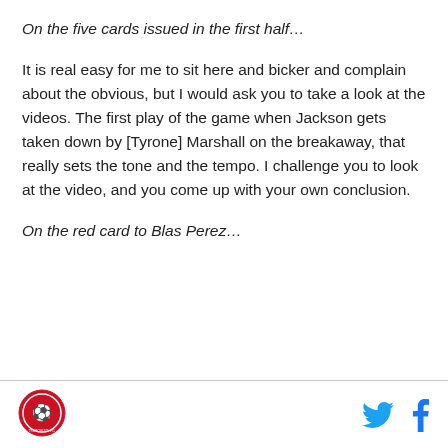On the five cards issued in the first half…
It is real easy for me to sit here and bicker and complain about the obvious, but I would ask you to take a look at the videos. The first play of the game when Jackson gets taken down by [Tyrone] Marshall on the breakaway, that really sets the tone and the tempo. I challenge you to look at the video, and you come up with your own conclusion.
On the red card to Blas Perez…
Logo and social media icons